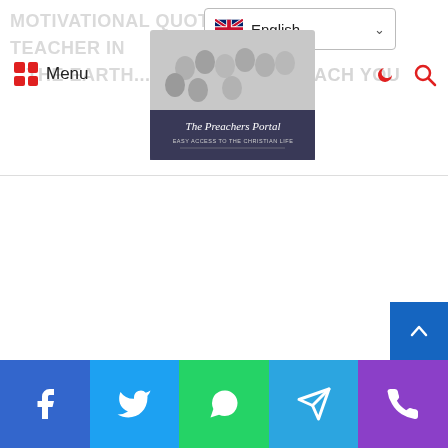MOTIVATIONAL QUOTE: The Greatest Teacher in the earth... can teach you
[Figure (screenshot): Website header of The Preachers Portal showing language selector (English), menu button, logo/banner image with group of preachers, crescent/dark-mode icon, and search icon]
[Figure (infographic): Social media sharing bar at bottom with Facebook (blue), Twitter (cyan), WhatsApp (green), Telegram (blue), Phone/Viber (purple) buttons and scroll-to-top arrow button]